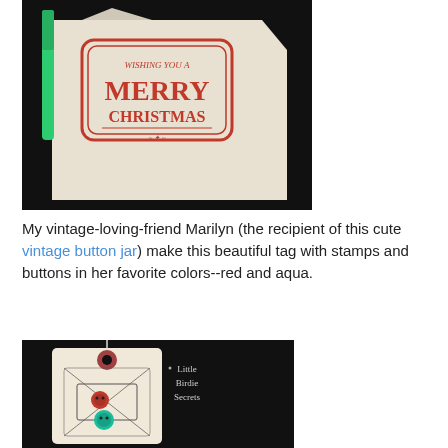[Figure (photo): Close-up photo of a felt gift tag with a green satin ribbon, stamped with 'Merry Christmas' in red ink on a cream/beige felt background, against a black surface.]
My vintage-loving-friend Marilyn (the recipient of this cute vintage button jar) make this beautiful tag with stamps and buttons in her favorite colors--red and aqua.
[Figure (photo): Photo of a cream-colored paper luggage tag with a red reinforcement hole, white string, a vintage ornament stamp design, a red button and an aqua/teal button sewn on, displayed on a black background. Text 'Little Birdie Secrets' visible in upper right.]